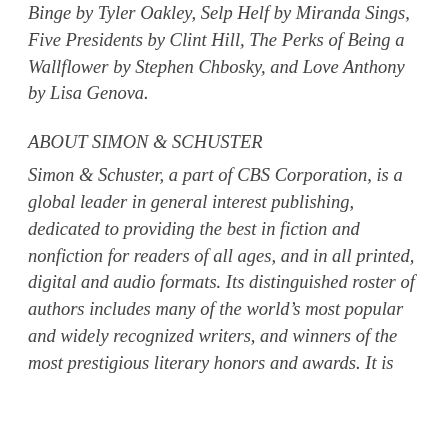Binge by Tyler Oakley, Selp Helf by Miranda Sings, Five Presidents by Clint Hill, The Perks of Being a Wallflower by Stephen Chbosky, and Love Anthony by Lisa Genova.
ABOUT SIMON & SCHUSTER
Simon & Schuster, a part of CBS Corporation, is a global leader in general interest publishing, dedicated to providing the best in fiction and nonfiction for readers of all ages, and in all printed, digital and audio formats. Its distinguished roster of authors includes many of the world's most popular and widely recognized writers, and winners of the most prestigious literary honors and awards. It is